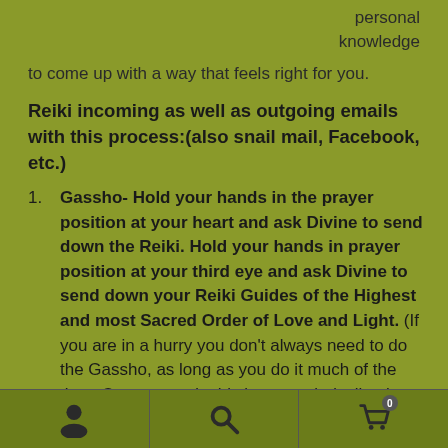personal knowledge
to come up with a way that feels right for you.
Reiki incoming as well as outgoing emails with this process:(also snail mail, Facebook, etc.)
Gassho- Hold your hands in the prayer position at your heart and ask Divine to send down the Reiki. Hold your hands in prayer position at your third eye and ask Divine to send down your Reiki Guides of the Highest and most Sacred Order of Love and Light. (If you are in a hurry you don't always need to do the Gassho, as long as you do it much of the time. Or you can do this in your mind, silently
Navigation bar with user, search, and cart icons